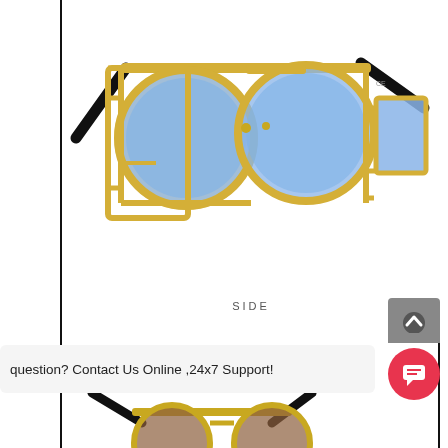[Figure (photo): Product photo of steampunk-style sunglasses with gold metal frame featuring round blue lenses and rectangular blue side lenses, on a white background. Black arms.]
SIDE
C4 GOLD/TEA
金框茶片
question? Contact Us Online ,24x7 Support!
[Figure (photo): Partial product photo of another pair of sunglasses with gold frame and brown lenses visible at bottom of page.]